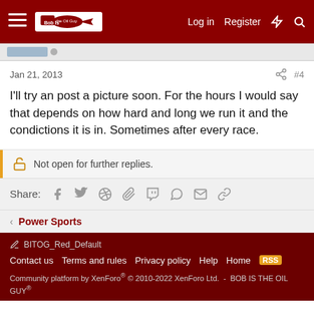Log in  Register
Jan 21, 2013  #4
I'll try an post a picture soon. For the hours I would say that depends on how hard and long we run it and the condictions it is in. Sometimes after every race.
Not open for further replies.
Share:
< Power Sports
BITOG_Red_Default
Contact us  Terms and rules  Privacy policy  Help  Home
Community platform by XenForo® © 2010-2022 XenForo Ltd.  -  BOB IS THE OIL GUY®